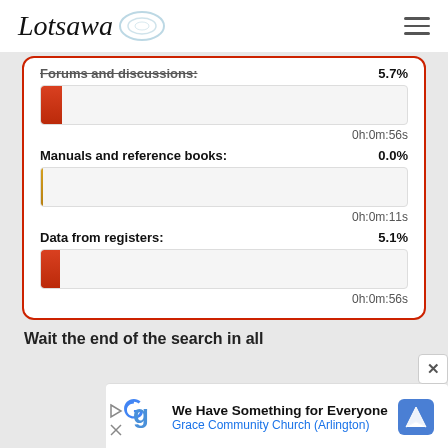Lotsawa [logo]
Forums and discussions: 5.7%
0h:0m:56s
Manuals and reference books: 0.0%
0h:0m:11s
Data from registers: 5.1%
0h:0m:56s
Wait the end of the search in all
[Figure (screenshot): Advertisement: We Have Something for Everyone — Grace Community Church (Arlington)]